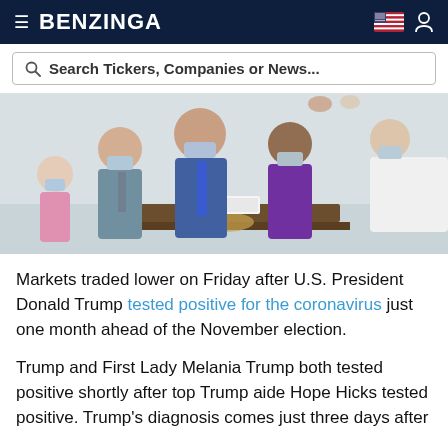BENZINGA
Search Tickers, Companies or News...
[Figure (photo): Group of people wearing face masks at what appears to be a White House signing event, gathered around a desk with the Presidential seal]
Markets traded lower on Friday after U.S. President Donald Trump tested positive for the coronavirus just one month ahead of the November election.
Trump and First Lady Melania Trump both tested positive shortly after top Trump aide Hope Hicks tested positive. Trump's diagnosis comes just three days after